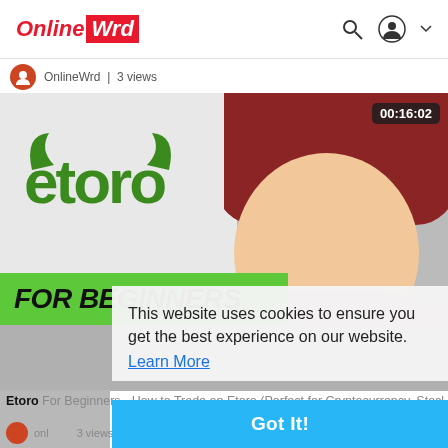Online Wrd
OnlineWrd | 3 views
[Figure (screenshot): eToro for Beginners video thumbnail showing eToro logo in green on white background with 'FOR BEGINNERS' text on green banner, and a smiling woman with red hair on the right side. Duration badge shows 00:16:02.]
Etoro For Beginners - How to Trade on Etoro (Perfect for Cryptocurrency, Stocks, Commodities, ETFs)
This website uses cookies to ensure you get the best experience on our website. Learn More
Got It!